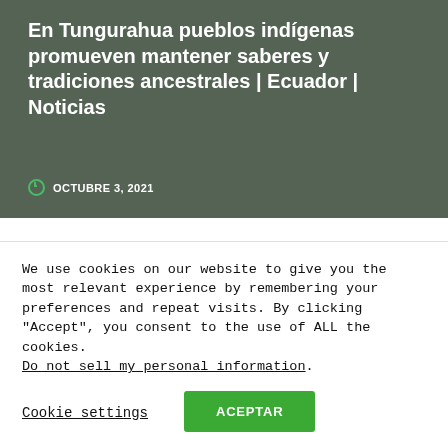[Figure (photo): Hero image with dark overlay showing indigenous people in background, with white text title and date overlaid]
En Tungurahua pueblos indígenas promueven mantener saberes y tradiciones ancestrales | Ecuador | Noticias
OCTUBRE 3, 2021
[Figure (photo): Small thumbnail image for article about cats in Manta]
Una veintena de gatos murió en ciudadela de Manta, presuntamente por ingerir veneno | Ecuador | Noticias
JUNIO 19, 2021
[Figure (photo): Small thumbnail image for article about protagonist of national life]
Trazos de un protagonista de la vida nacional
We use cookies on our website to give you the most relevant experience by remembering your preferences and repeat visits. By clicking “Accept”, you consent to the use of ALL the cookies.
Do not sell my personal information.
Cookie settings  ACEPTAR